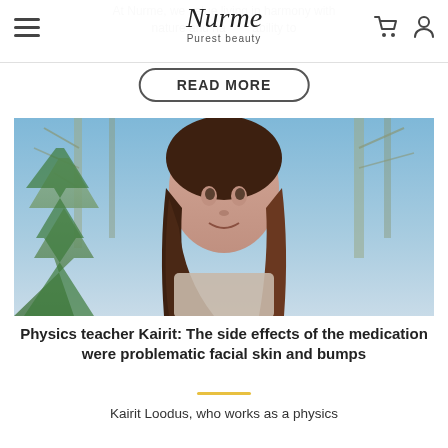Nurme – Purest beauty
At Nurme, we value living in harmony with nature and ha... ability to
READ MORE
[Figure (photo): Young woman with long dark hair smiling outdoors in front of trees and blue sky]
Physics teacher Kairit: The side effects of the medication were problematic facial skin and bumps
Kairit Loodus, who works as a physics